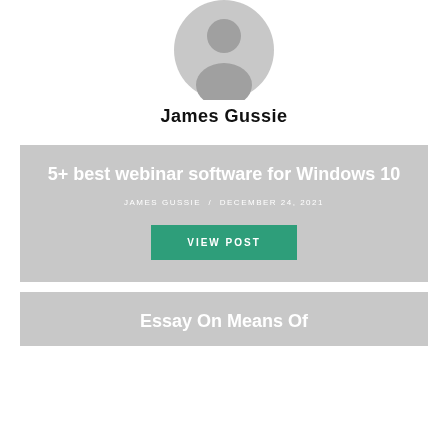[Figure (illustration): Gray placeholder avatar icon showing a person silhouette, centered at top of page]
James Gussie
[Figure (screenshot): Gray card with title '5+ best webinar software for Windows 10', byline 'JAMES GUSSIE / DECEMBER 24, 2021', and a green 'VIEW POST' button]
[Figure (screenshot): Gray card partially visible at bottom with title 'Essay On Means Of']